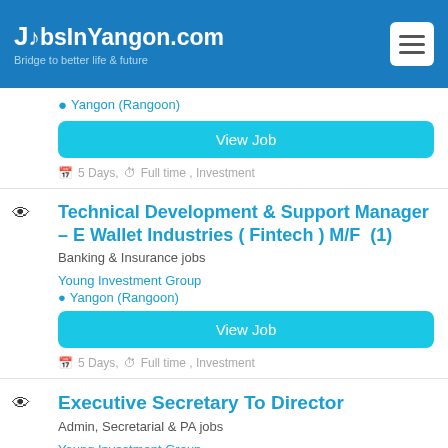JobsInYangon.com — Bridge to better life & future
Yangon (Rangoon)
View Job
5 Days, Full time , Investment
Technical Development & Support Manager – E Wallet Industries ( Fintech ) M/F (1)
Banking & Insurance jobs
Young Investment Group
Yangon (Rangoon)
View Job
5 Days, Full time , Investment
Executive Secretary To Director
Admin, Secretarial & PA jobs
Young Investment Group
Yangon (Rangoon)